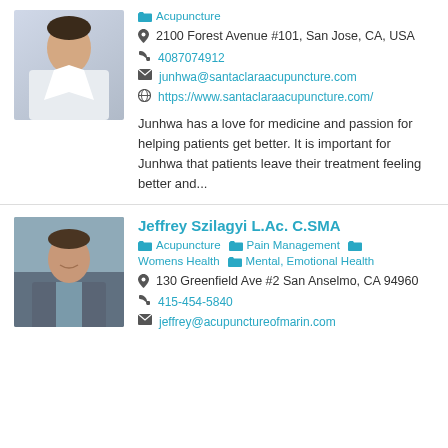[Figure (photo): Photo of a man in white coat and blue tie]
Acupuncture
2100 Forest Avenue #101, San Jose, CA, USA
4087074912
junhwa@santaclaraacupuncture.com
https://www.santaclaraacupuncture.com/
Junhwa has a love for medicine and passion for helping patients get better. It is important for Junhwa that patients leave their treatment feeling better and...
[Figure (photo): Photo of a smiling man in a suit outdoors]
Jeffrey Szilagyi L.Ac. C.SMA
Acupuncture  Pain Management  Womens Health  Mental, Emotional Health
130 Greenfield Ave #2 San Anselmo, CA 94960
415-454-5840
jeffrey@acupunctureofmarin.com